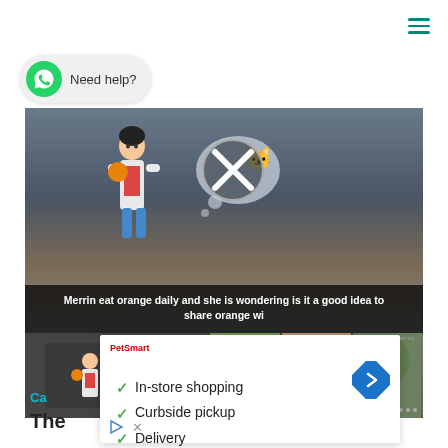[Figure (screenshot): Hamburger menu icon (three horizontal teal lines) in top right corner of a webpage]
[Figure (screenshot): WhatsApp 'Need help?' chat button with green WhatsApp icon and grey pill-shaped background]
[Figure (screenshot): Video player showing animated character holding an orange with thought bubble containing an X symbol, with cat and food imagery. Subtitle reads: Merrin eat orange daily and she is wondering is it a good idea to share orange wi]
Merrin eat orange daily and she is wondering is it a good idea to share orange wi
[Figure (screenshot): Thumbnail strip below video with small previews of the video and three animal/nature photo thumbnails]
[Figure (infographic): White overlay ad panel showing PetSmart logo with checklist: In-store shopping, Curbside pickup, Delivery. Navigation arrow button on right. Play and X icons bottom left.]